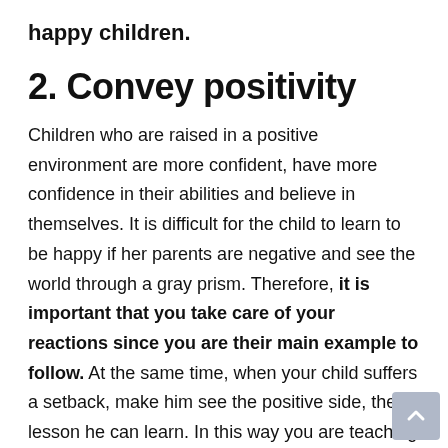happy children.
2. Convey positivity
Children who are raised in a positive environment are more confident, have more confidence in their abilities and believe in themselves. It is difficult for the child to learn to be happy if her parents are negative and see the world through a gray prism. Therefore, it is important that you take care of your reactions since you are their main example to follow. At the same time, when your child suffers a setback, make him see the positive side, the lesson he can learn. In this way you are teaching him to focus on the positive aspects and on teaching.